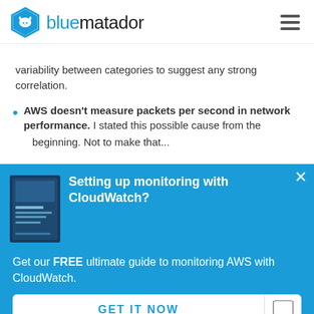bluematador
variability between categories to suggest any strong correlation.
AWS doesn't measure packets per second in network performance. I stated this possible cause from the beginning. Not to make that…
[Figure (screenshot): Modal popup with blue background. Shows a book cover image on left, title 'Setting up monitoring with CloudWatch?' in white bold text, close X button top right, body text 'Get our FREE ultimate guide to monitoring AWS with CloudWatch.', and a white button 'GET IT NOW' with a chat icon on the right.]